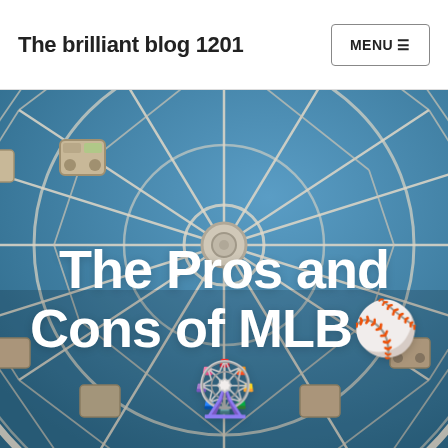The brilliant blog 1201
[Figure (photo): A large Ferris wheel photographed from below against a clear blue sky, showing white metal structure and gondola cars]
The Pros and Cons of MLB⚾🎡